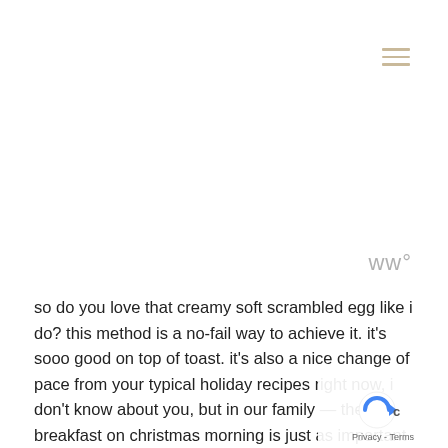[Figure (other): Hamburger menu icon with three horizontal lines in tan/beige color, positioned top right]
[Figure (logo): Wordmark logo in gray, appears to show stylized letters 'ww' with a superscript degree symbol]
so do you love that creamy soft scrambled egg like i do? this method is a no-fail way to achieve it. it's sooo good on top of toast. it's also a nice change of pace from your typical holiday recipes right now, i don't know about you, but in our family — the breakfast on christmas morning is just as important as the dinner. we also have a big hearty meal before doing presents, and i'm totally making these eggs for the family this year.
[Figure (logo): reCAPTCHA privacy badge with circular arrow icon, blue and gray colors, and 'Privacy - Terms' text]